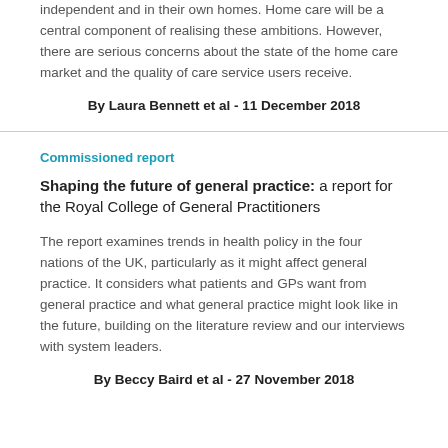independent and in their own homes. Home care will be a central component of realising these ambitions. However, there are serious concerns about the state of the home care market and the quality of care service users receive.
By Laura Bennett et al - 11 December 2018
Commissioned report
Shaping the future of general practice: a report for the Royal College of General Practitioners
The report examines trends in health policy in the four nations of the UK, particularly as it might affect general practice. It considers what patients and GPs want from general practice and what general practice might look like in the future, building on the literature review and our interviews with system leaders.
By Beccy Baird et al - 27 November 2018